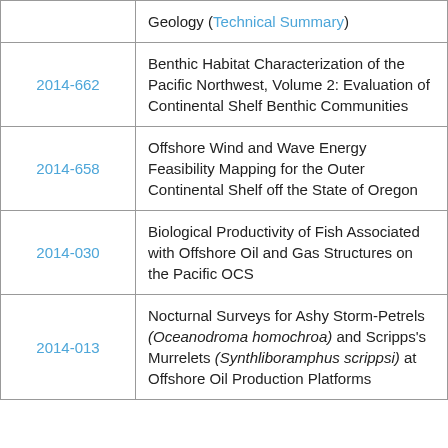| ID | Title |
| --- | --- |
|  | Geology (Technical Summary) |
| 2014-662 | Benthic Habitat Characterization of the Pacific Northwest, Volume 2: Evaluation of Continental Shelf Benthic Communities |
| 2014-658 | Offshore Wind and Wave Energy Feasibility Mapping for the Outer Continental Shelf off the State of Oregon |
| 2014-030 | Biological Productivity of Fish Associated with Offshore Oil and Gas Structures on the Pacific OCS |
| 2014-013 | Nocturnal Surveys for Ashy Storm-Petrels (Oceanodroma homochroa) and Scripps's Murrelets (Synthliboramphus scrippsi) at Offshore Oil Production Platforms |